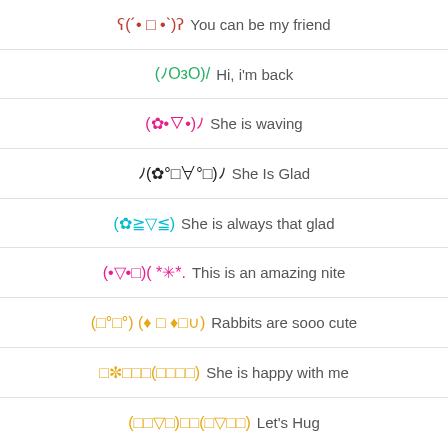ʕ(´• □ •`)ʔ  You can be my friend
(ﾉOзO)/  Hi, i'm back
(✿•▽•)ﾉ  She is waving
ﾉ(✿°□∀°□)ﾉ  She Is Glad
(✿≧▽≦)  She is always that glad
(•▽•□)(  *✳*.  This is an amazing nite
(□°□°) (♦  □  ♦□∪)  Rabbits are sooo cute
□✼□□□(□□□□)  She is happy with me
(□□▽□)□□(□▽□□)  Let's Hug